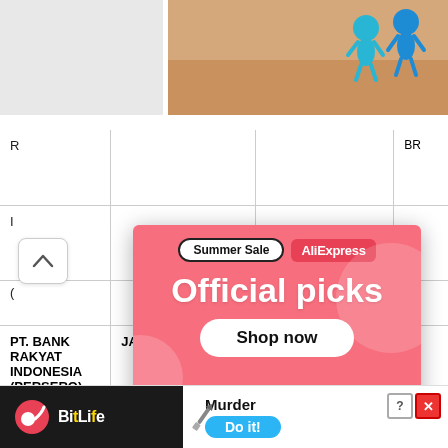[Figure (screenshot): Top right corner game advertisement with 'Hold and Mo...' text and character icons on sandy background]
[Figure (screenshot): AliExpress Summer Sale popup ad with 'Official picks' heading, 'Shop now' button, and product images including robot vacuum and gaming console]
| Bank Name | City | Branch | Code |
| --- | --- | --- | --- |
| PT. BANK RAKYAT INDONESIA (PERSERO) TBK | JAKARTA | (KRAMAT BRANCH) | BR |
| PT. BA... |  |  |  |
[Figure (screenshot): BitLife mobile game advertisement at bottom with 'Murder Do it!' call to action]